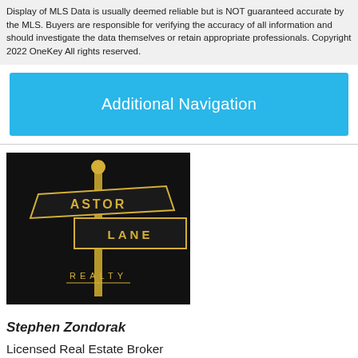Display of MLS Data is usually deemed reliable but is NOT guaranteed accurate by the MLS. Buyers are responsible for verifying the accuracy of all information and should investigate the data themselves or retain appropriate professionals. Copyright 2022 OneKey All rights reserved.
Additional Navigation
[Figure (logo): Astor Lane Realty logo — gold street signs reading ASTOR LANE on a dark background with REALTY below]
Stephen Zondorak
Licensed Real Estate Broker
Astor Lane Realty
531 Central Park Ave Suite 305-B
Scarsdale, NY 10583
914.341.2998
License #10311207710
[Figure (logo): Small square logo (partially visible at bottom left)]
[Figure (logo): House/roof shaped logo (partially visible at bottom center)]